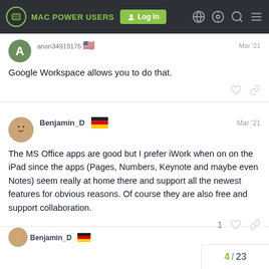MAC POWER USERS — Log In navigation bar
anon34919176 🇺🇸 Mar '21
Google Workspace allows you to do that.
Benjamin_D 🇩🇪 Mar '21
The MS Office apps are good but I prefer iWork when on on the iPad since the apps (Pages, Numbers, Keynote and maybe even Notes) seem really at home there and support all the newest features for obvious reasons. Of course they are also free and support collaboration.
1
4 / 23
Benjamin_D 🇩🇪